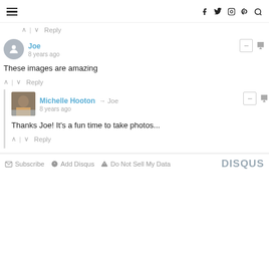Navigation header with hamburger menu and social icons (Facebook, Twitter, Instagram, Pinterest, Search)
↑ | ↓  Reply
Joe
8 years ago
These images are amazing
↑ | ↓  Reply
Michelle Hooton → Joe
8 years ago
Thanks Joe! It's a fun time to take photos...
↑ | ↓  Reply
Subscribe  Add Disqus  Do Not Sell My Data  DISQUS